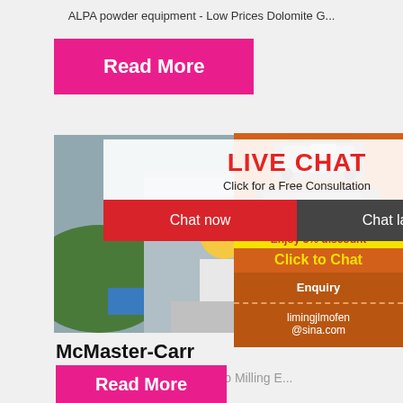ALPA powder equipment - Low Prices Dolomite G...
Read More
[Figure (photo): Live chat popup overlay on construction workers photo, with LIVE CHAT heading in red, 'Click for a Free Consultation', Chat now and Chat later buttons]
[Figure (infographic): Orange sidebar ad with mining equipment photos, 'Enjoy 3% discount', 'Click to Chat', 'Enquiry', and 'limingjlmofen@sina.com' contact info]
McMaster-Carr
Carbide Ball End Mills with Two Milling E...
Read More